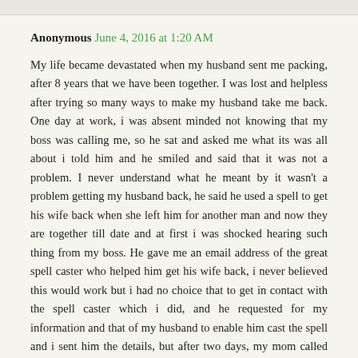Anonymous June 4, 2016 at 1:20 AM
My life became devastated when my husband sent me packing, after 8 years that we have been together. I was lost and helpless after trying so many ways to make my husband take me back. One day at work, i was absent minded not knowing that my boss was calling me, so he sat and asked me what its was all about i told him and he smiled and said that it was not a problem. I never understand what he meant by it wasn't a problem getting my husband back, he said he used a spell to get his wife back when she left him for another man and now they are together till date and at first i was shocked hearing such thing from my boss. He gave me an email address of the great spell caster who helped him get his wife back, i never believed this would work but i had no choice that to get in contact with the spell caster which i did, and he requested for my information and that of my husband to enable him cast the spell and i sent him the details, but after two days, my mom called me that my husband came pleading that he wants me back, i never believed it because it was just like a dream and i had to rush down to my mothers place and to my